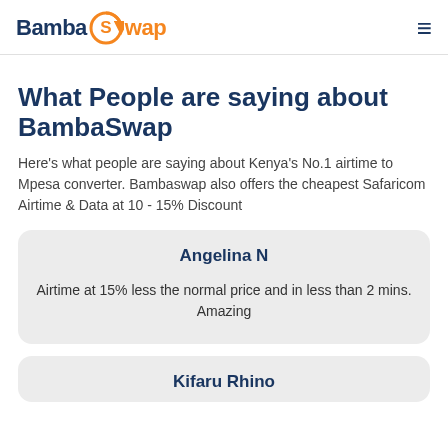BambaSwap
What People are saying about BambaSwap
Here's what people are saying about Kenya's No.1 airtime to Mpesa converter. Bambaswap also offers the cheapest Safaricom Airtime & Data at 10 - 15% Discount
Angelina N
Airtime at 15% less the normal price and in less than 2 mins. Amazing
Kifaru Rhino